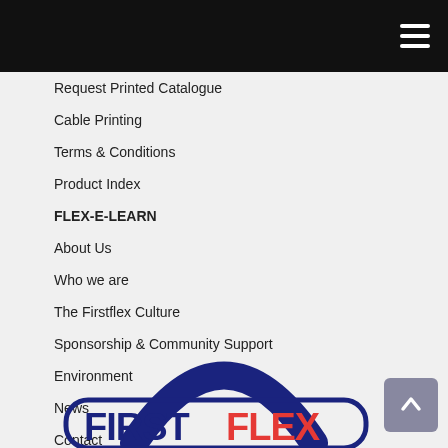Request Printed Catalogue
Cable Printing
Terms & Conditions
Product Index
FLEX-E-LEARN
About Us
Who we are
The Firstflex Culture
Sponsorship & Community Support
Environment
News
Contact
[Figure (logo): Firstflex company logo with navy blue arc and FIRSTFLEX text where FIRST is in navy blue and FLEX is in red/orange]